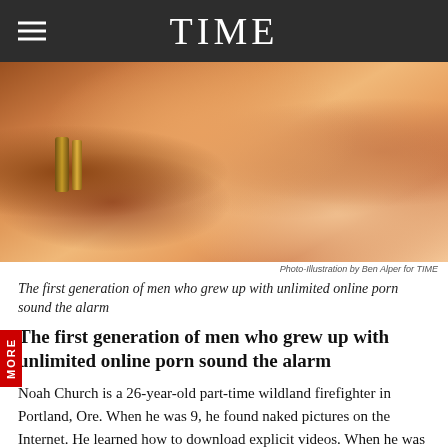TIME
[Figure (photo): Close-up photo-illustration of a human torso/body, warm skin tones with a bracelet visible on the left side, suggestive/artistic composition. Photo-Illustration by Ben Alper for TIME]
Photo-Illustration by Ben Alper for TIME
The first generation of men who grew up with unlimited online porn sound the alarm
The first generation of men who grew up with unlimited online porn sound the alarm
Noah Church is a 26-year-old part-time wildland firefighter in Portland, Ore. When he was 9, he found naked pictures on the Internet. He learned how to download explicit videos. When he was 15, streaming video several times